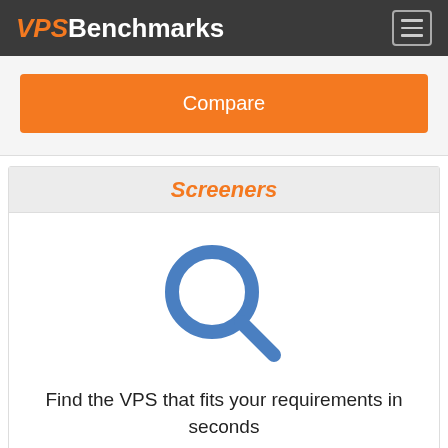VPSBenchmarks
Compare
Screeners
[Figure (illustration): Blue magnifying glass / search icon]
Find the VPS that fits your requirements in seconds
Screener